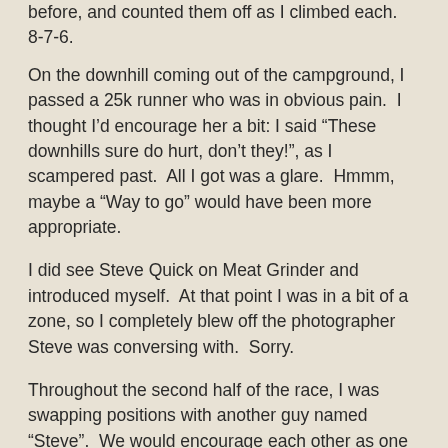before, and counted them off as I climbed each.  8-7-6.
On the downhill coming out of the campground, I passed a 25k runner who was in obvious pain.  I thought I'd encourage her a bit: I said “These downhills sure do hurt, don’t they!”, as I scampered past.  All I got was a glare.  Hmmm, maybe a “Way to go” would have been more appropriate.
I did see Steve Quick on Meat Grinder and introduced myself.  At that point I was in a bit of a zone, so I completely blew off the photographer Steve was conversing with.  Sorry.
Throughout the second half of the race, I was swapping positions with another guy named “Steve”.  We would encourage each other as one passed, but it was evident we were in the same Age Group, so I think there was some competing going on.  I sure was feeling it.  Steve seemed a great guy, and he sure was running strong.  Coming out of AS 5 going into the Snowshoe Loop, he was right behind me.  Great.  I said something like “Let’s hammer this last section”.  He seemed game.  So much for reverse